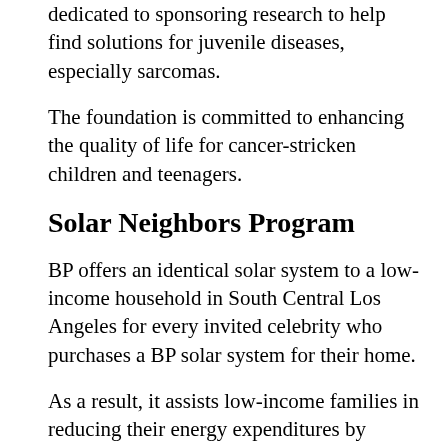dedicated to sponsoring research to help find solutions for juvenile diseases, especially sarcomas.
The foundation is committed to enhancing the quality of life for cancer-stricken children and teenagers.
Solar Neighbors Program
BP offers an identical solar system to a low-income household in South Central Los Angeles for every invited celebrity who purchases a BP solar system for their home.
As a result, it assists low-income families in reducing their energy expenditures by utilizing solar power.